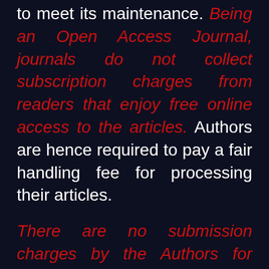to meet its maintenance. Being an Open Access Journal, journals do not collect subscription charges from readers that enjoy free online access to the articles. Authors are hence required to pay a fair handling fee for processing their articles.
There are no submission charges by the Authors for submitting the manuscript.
The Article Processing Charge is $35 per paper for national and